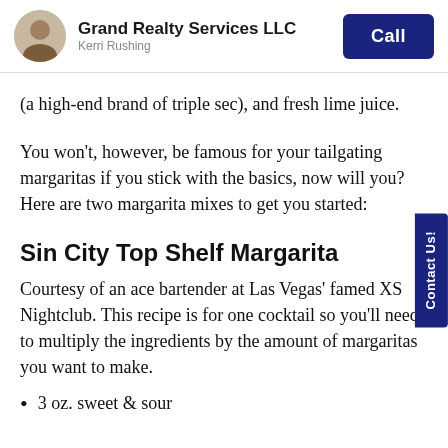Grand Realty Services LLC
Kerri Rushing
Call
(a high-end brand of triple sec), and fresh lime juice.
You won't, however, be famous for your tailgating margaritas if you stick with the basics, now will you? Here are two margarita mixes to get you started:
Sin City Top Shelf Margarita
Courtesy of an ace bartender at Las Vegas' famed XS Nightclub. This recipe is for one cocktail so you'll need to multiply the ingredients by the amount of margaritas you want to make.
3 oz. sweet & sour